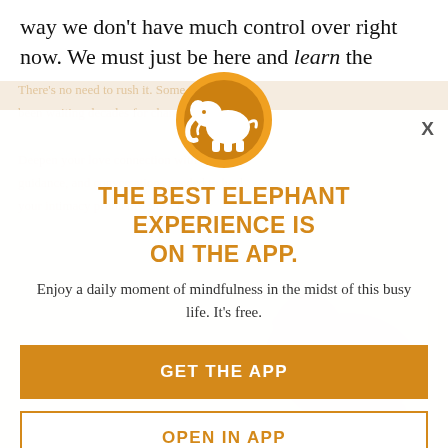way we don't have much control over right now. We must just be here and learn the
necessary skills for healing what seems to be a long, dark wound that is rearchitecturing our lives.
There's no need to rush it. Some of us have been waiting decades for change. Deepen your love connection with activities, guidance, and conversations needed to heal your intimacy problems. Start Here.
[Figure (logo): Elephant Journal app icon: orange circle with white elephant silhouette]
THE BEST ELEPHANT EXPERIENCE IS ON THE APP.
Enjoy a daily moment of mindfulness in the midst of this busy life. It's free.
GET THE APP
OPEN IN APP